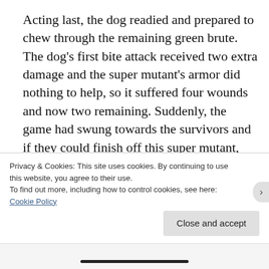Acting last, the dog readied and prepared to chew through the remaining green brute. The dog's first bite attack received two extra damage and the super mutant's armor did nothing to help, so it suffered four wounds and now two remaining. Suddenly, the game had swung towards the survivors and if they could finish off this super mutant, they could still grab a victory before the turn limit occurred. The second bite unfortunately did not damage the mutant so victory within round limit was not possible. A draw did not seem like the right result so I
Privacy & Cookies: This site uses cookies. By continuing to use this website, you agree to their use.
To find out more, including how to control cookies, see here:
Cookie Policy
Close and accept